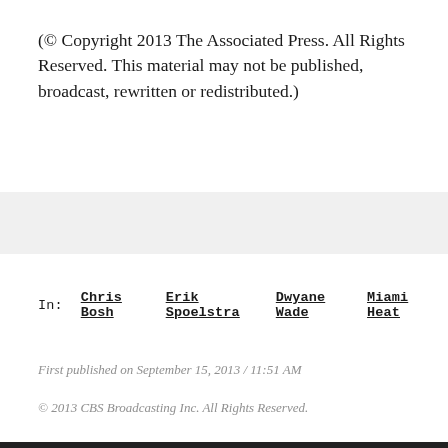(© Copyright 2013 The Associated Press. All Rights Reserved. This material may not be published, broadcast, rewritten or redistributed.)
In:   Chris Bosh   Erik Spoelstra   Dwyane Wade   Miami Heat
First published on September 15, 2013 / 11:51 AM
© 2013 CBS Broadcasting Inc. All Rights Reserved.